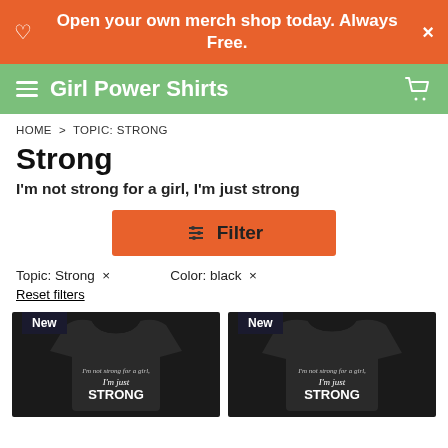Open your own merch shop today. Always Free.
Girl Power Shirts
HOME > TOPIC: STRONG
Strong
I'm not strong for a girl, I'm just strong
Filter
Topic: Strong ×   Color: black ×
Reset filters
[Figure (screenshot): Two black t-shirts with 'I'm not strong for a girl, I'm just STRONG' text, each with a 'New' badge]
New